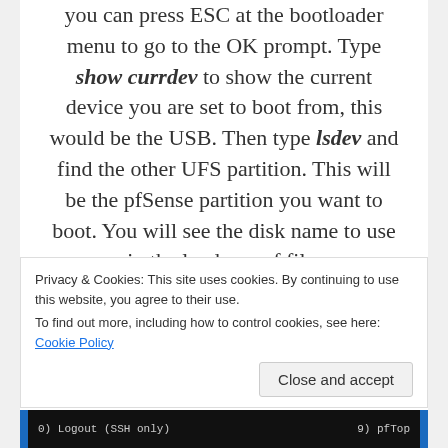you can press ESC at the bootloader menu to go to the OK prompt. Type show currdev to show the current device you are set to boot from, this would be the USB. Then type lsdev and find the other UFS partition. This will be the pfSense partition you want to boot. You will see the disk name to use in the loader.conf file.
Save the file and reboot. Now if you leave it alone to fully boot it should load pfSense!
Privacy & Cookies: This site uses cookies. By continuing to use this website, you agree to their use.
To find out more, including how to control cookies, see here: Cookie Policy
Close and accept
[Figure (screenshot): Dark terminal/menu bar showing: 0) Logout (SSH only)    9) pfTop]